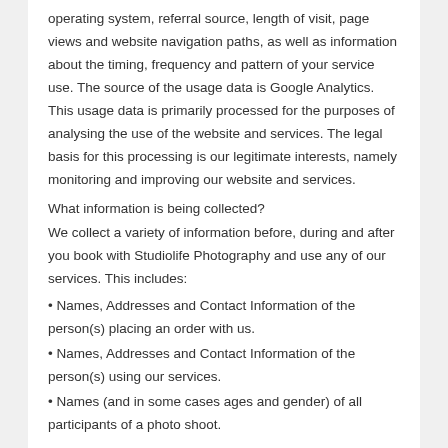operating system, referral source, length of visit, page views and website navigation paths, as well as information about the timing, frequency and pattern of your service use. The source of the usage data is Google Analytics. This usage data is primarily processed for the purposes of analysing the use of the website and services. The legal basis for this processing is our legitimate interests, namely monitoring and improving our website and services.
What information is being collected?
We collect a variety of information before, during and after you book with Studiolife Photography and use any of our services. This includes:
• Names, Addresses and Contact Information of the person(s) placing an order with us.
• Names, Addresses and Contact Information of the person(s) using our services.
• Names (and in some cases ages and gender) of all participants of a photo shoot.